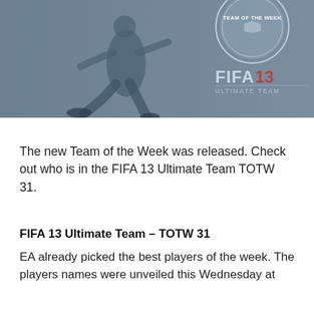[Figure (photo): FIFA 13 Ultimate Team banner image showing a soccer player in motion on a blue-grey tinted background, with 'TEAM OF THE WEEK' circular badge in upper right and 'FIFA 13 ULTIMATE TEAM' logo in lower right]
The new Team of the Week was released. Check out who is in the FIFA 13 Ultimate Team TOTW 31.
FIFA 13 Ultimate Team – TOTW 31
EA already picked the best players of the week. The players names were unveiled this Wednesday at